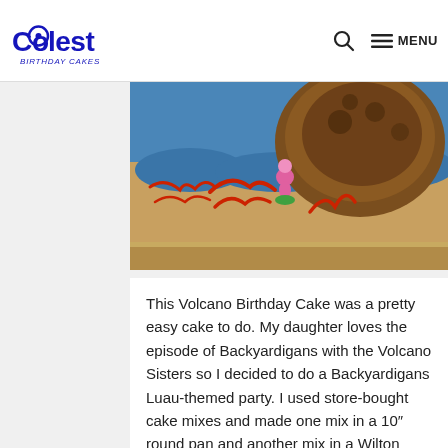Coolest Birthday Cakes — MENU
[Figure (photo): A birthday cake decorated with blue frosting, a brown volcano mound, a pink Backyardigans figurine, and red script text on a sandy background.]
This Volcano Birthday Cake was a pretty easy cake to do. My daughter loves the episode of Backyardigans with the Volcano Sisters so I decided to do a Backyardigans Luau-themed party. I used store-bought cake mixes and made one mix in a 10" round pan and another mix in a Wilton Wonder Mold pan that … Read more